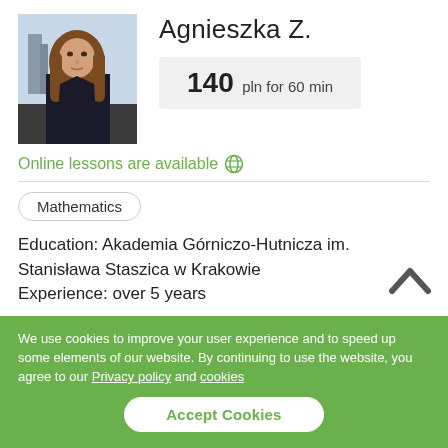[Figure (photo): Profile photo of Agnieszka Z., a young woman with long brown hair, wearing a dark jacket, photographed outdoors.]
Agnieszka Z.
140 pln for 60 min
Online lessons are available 🌐
Mathematics
Education: Akademia Górniczo-Hutnicza im. Stanisława Staszica w Krakowie Experience: over 5 years
If your child is still struggling with maths, days and weeks pass and the backlog is growing, it's time to help him. You don't need talent for mathematics, it's a matter of understanding your task well and remembering it by practising it. You should learn the
We use cookies to improve your user experience and to speed up some elements of our website. By continuing to use the website, you agree to our Privacy policy and cookies
Accept Cookies